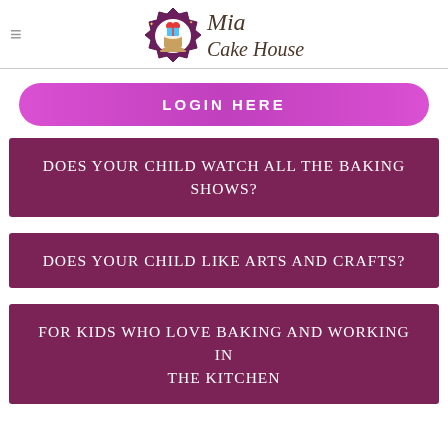[Figure (logo): Mia Cake House logo with decorative emblem and stylized text]
LOGIN HERE
DOES YOUR CHILD WATCH ALL THE BAKING SHOWS?
DOES YOUR CHILD LIKE ARTS AND CRAFTS?
FOR KIDS WHO LOVE BAKING AND WORKING IN THE KITCHEN